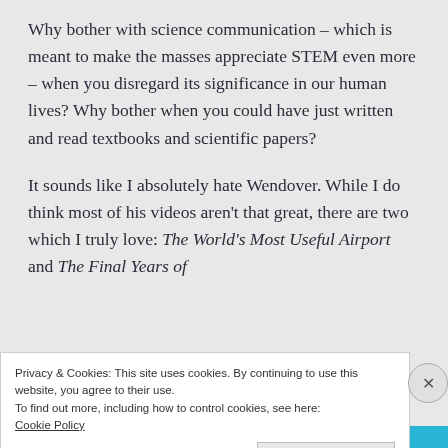Why bother with science communication – which is meant to make the masses appreciate STEM even more – when you disregard its significance in our human lives? Why bother when you could have just written and read textbooks and scientific papers?
It sounds like I absolutely hate Wendover. While I do think most of his videos aren't that great, there are two which I truly love: The World's Most Useful Airport and The Final Years of
Privacy & Cookies: This site uses cookies. By continuing to use this website, you agree to their use.
To find out more, including how to control cookies, see here:
Cookie Policy
Close and accept